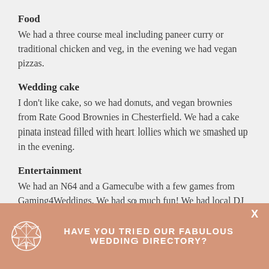Food
We had a three course meal including paneer curry or traditional chicken and veg, in the evening we had vegan pizzas.
Wedding cake
I don't like cake, so we had donuts, and vegan brownies from Rate Good Brownies in Chesterfield. We had a cake pinata instead filled with heart lollies which we smashed up in the evening.
Entertainment
We had an N64 and a Gamecube with a few games from Gaming4Weddings. We had so much fun! We had local DJ Catie Maxx in the evening, and a Photobooth which was also used as our guestbook and favours.
HAVE YOU TRIED OUR FABULOUS WEDDING DIRECTORY?